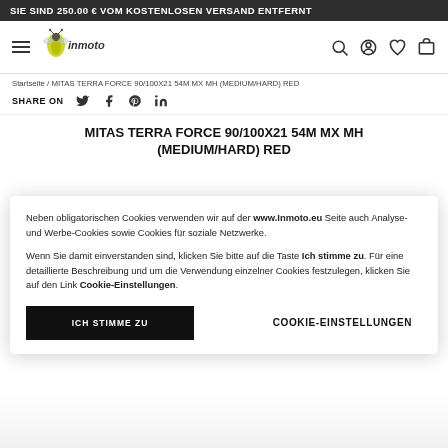SIE SIND 250.00 € VOM KOSTENLOSEN VERSAND ENTFERNT
[Figure (logo): inmoto logo with insect/bee graphic and 'inmoto' text]
Startseite / MITAS TERRA FORCE 90/100X21 54M MX MH (MEDIUM/HARD) RED
SHARE ON
MITAS TERRA FORCE 90/100X21 54M MX MH (MEDIUM/HARD) RED
Neben obligatorischen Cookies verwenden wir auf der www.Inmoto.eu Seite auch Analyse- und Werbe-Cookies sowie Cookies für soziale Netzwerke.
Wenn Sie damit einverstanden sind, klicken Sie bitte auf die Taste Ich stimme zu. Für eine detaillierte Beschreibung und um die Verwendung einzelner Cookies festzulegen, klicken Sie auf den Link Cookie-Einstellungen.
ICH STIMME ZU
COOKIE-EINSTELLUNGEN